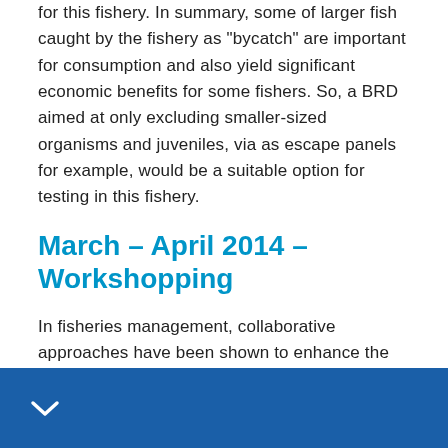for this fishery. In summary, some of larger fish caught by the fishery as "bycatch" are important for consumption and also yield significant economic benefits for some fishers. So, a BRD aimed at only excluding smaller-sized organisms and juveniles, via as escape panels for example, would be a suitable option for testing in this fishery.
March – April 2014 – Workshopping
In fisheries management, collaborative approaches have been shown to enhance the development of adequate regulations and encourage greater compliance. If methods are adapted to local needs, the outcomes are usually positive and sometimes unexpected, leading to some innovative solutions.
▼